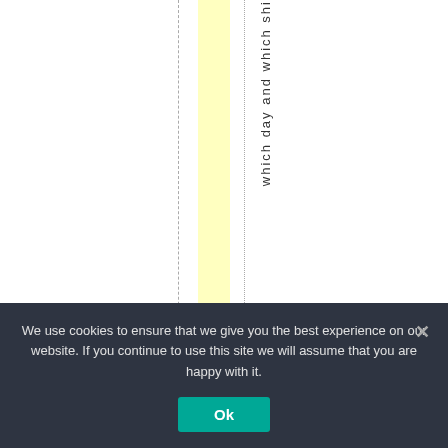which day and which shi
We use cookies to ensure that we give you the best experience on our website. If you continue to use this site we will assume that you are happy with it.
Ok